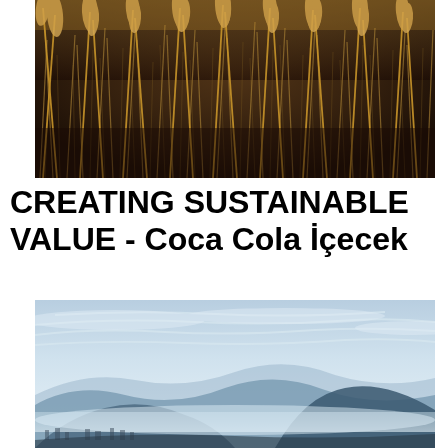[Figure (photo): Close-up photograph of dry golden grass or reeds with a dark, warm-toned background]
CREATING SUSTAINABLE VALUE - Coca Cola İçecek
[Figure (photo): Landscape photograph of misty mountains with layered blue-purple silhouettes, a valley with light fog, and a pale blue sky with wispy clouds]